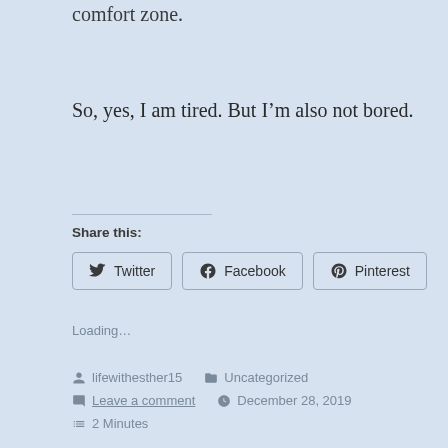comfort zone.
So, yes, I am tired. But I'm also not bored.
Share this:
[Figure (other): Social share buttons for Twitter, Facebook, and Pinterest]
Loading...
lifewithesther15   Uncategorized
Leave a comment   December 28, 2019
2 Minutes